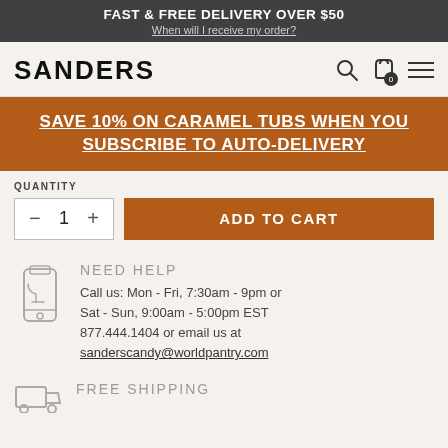FAST & FREE DELIVERY OVER $50
When will I receive my order?
SANDERS
SAVE 10% ON CARAMEL TUBS WHEN YOU SUBSCRIBE TO AUTO-DELIVERY
QUANTITY
- 1 +
ADD TO CART
NEED HELP
Call us: Mon - Fri, 7:30am - 9pm or Sat - Sun, 9:00am - 5:00pm EST 877.444.1404 or email us at sanderscandy@worldpantry.com
FREE SHIPPING